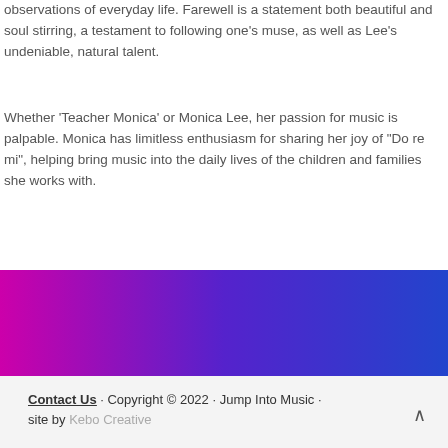observations of everyday life. Farewell is a statement both beautiful and soul stirring, a testament to following one's muse, as well as Lee's undeniable, natural talent.
Whether 'Teacher Monica' or Monica Lee, her passion for music is palpable. Monica has limitless enthusiasm for sharing her joy of "Do re mi", helping bring music into the daily lives of the children and families she works with.
[Figure (illustration): Horizontal gradient bar transitioning from magenta/pink on the left through purple to dark blue on the right]
Contact Us · Copyright © 2022 · Jump Into Music · site by Kebo Creative